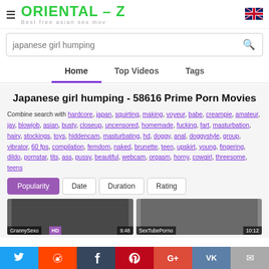ORIENTAL - Z Best free asian sex mov
japanese girl humping
Home | Top Videos | Tags
Japanese girl humping - 58616 Prime Porn Movies
Combine search with hardcore, japan, squirting, making, voyeur, babe, creampie, amateur, jav, blowjob, asian, busty, closeup, uncensored, homemade, fucking, fart, masturbation, hairy, stockings, toys, hiddencam, masturbating, hd, doggy, anal, doggystyle, group, vibrator, 60 fps, compilation, femdom, naked, brunette, teen, upskirt, young, fingering, dildo, pornstar, tits, ass, pussy, beautiful, webcam, orgasm, horny, cowgirl, threesome, teens
Popularity | Date | Duration | Rating
[Figure (screenshot): Two video thumbnails: GrannySexo (9:48) and SexTubePorno (10:12)]
Twitter, Reddit, Tumblr, Pinterest, G+, VK, Email social share bar